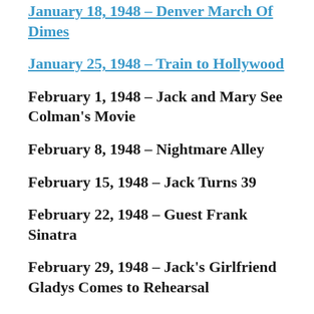January 18, 1948 – Denver March Of Dimes
January 25, 1948 – Train to Hollywood
February 1, 1948 – Jack and Mary See Colman's Movie
February 8, 1948 – Nightmare Alley
February 15, 1948 – Jack Turns 39
February 22, 1948 – Guest Frank Sinatra
February 29, 1948 – Jack's Girlfriend Gladys Comes to Rehearsal
March 7, 1948 – Jack Dons In the Walking…